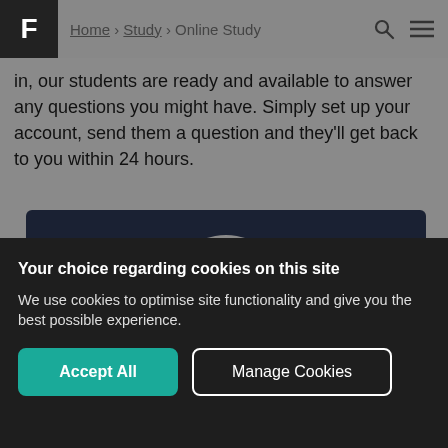Home > Study > Online Study
in, our students are ready and available to answer any questions you might have. Simply set up your account, send them a question and they'll get back to you within 24 hours.
[Figure (screenshot): Partial view of a laptop or screen mockup with a dark navy background and a grey semicircle/profile shape visible at the bottom center.]
Your choice regarding cookies on this site
We use cookies to optimise site functionality and give you the best possible experience.
Accept All   Manage Cookies